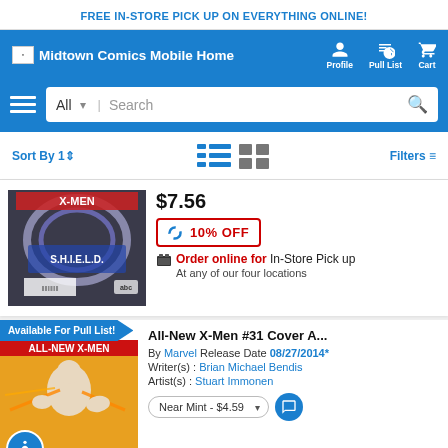FREE IN-STORE PICK UP ON EVERYTHING ONLINE!
[Figure (screenshot): Midtown Comics website navigation bar with logo, Profile, Pull List, and Cart icons]
[Figure (screenshot): Search bar with hamburger menu, All category dropdown, and search field]
Sort By | Filters
[Figure (photo): X-Men / S.H.I.E.L.D. comic book cover]
$7.56
10% OFF
Order online for In-Store Pick up
At any of our four locations
Available For Pull List!
[Figure (photo): All-New X-Men #31 Cover A comic book cover showing a character with energy effects]
All-New X-Men #31 Cover A...
By Marvel  Release Date 08/27/2014*
Writer(s) : Brian Michael Bendis
Artist(s) : Stuart Immonen
Near Mint - $4.59